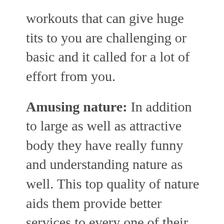workouts that can give huge tits to you are challenging or basic and it called for a lot of effort from you.
Amusing nature: In addition to large as well as attractive body they have really funny and understanding nature as well. This top quality of nature aids them provide better services to every one of their clients in a terrific an incredibly simple manner. So, if you will certainly take this solutions for your satisfaction needs with hot Croydon escorts, after that it is a guarantee that you will get better fun with them also in this approach and